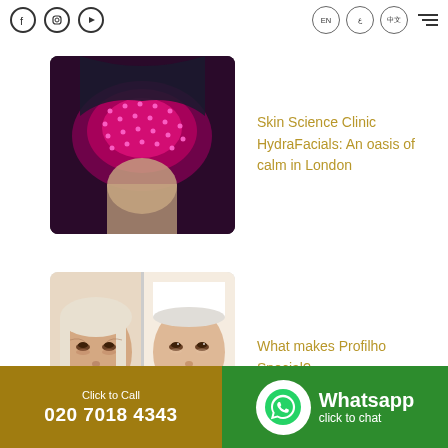Facebook | Instagram | YouTube | EN | Arabic | 中文 | Menu
[Figure (photo): Person receiving LED light therapy facial treatment with pink/red light mask]
Skin Science Clinic HydraFacials: An oasis of calm in London
[Figure (photo): Before and after photos of a woman's face showing Profhilo treatment results, with 'After' label]
What makes Profilho Special?
Click to Call
020 7018 4343
Whatsapp click to chat